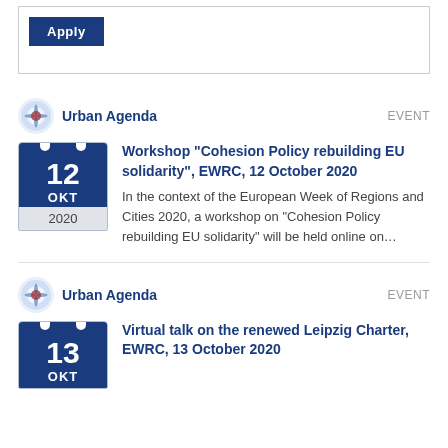[Figure (other): Apply button in a bordered box]
[Figure (logo): Urban Agenda logo icon]
Urban Agenda
EVENT
Workshop "Cohesion Policy rebuilding EU solidarity", EWRC, 12 October 2020
In the context of the European Week of Regions and Cities 2020, a workshop on "Cohesion Policy rebuilding EU solidarity" will be held online on…
[Figure (logo): Urban Agenda logo icon]
Urban Agenda
EVENT
Virtual talk on the renewed Leipzig Charter, EWRC, 13 October 2020